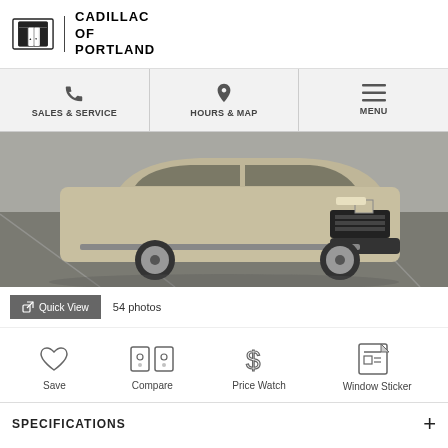[Figure (logo): Cadillac of Portland dealer logo with Cadillac crest emblem and dealer name]
SALES & SERVICE | HOURS & MAP | MENU
[Figure (photo): Gold/champagne Cadillac XT4 SUV parked in a parking lot, front three-quarter view]
Quick View   54 photos
Save   Compare   Price Watch   Window Sticker
SPECIFICATIONS